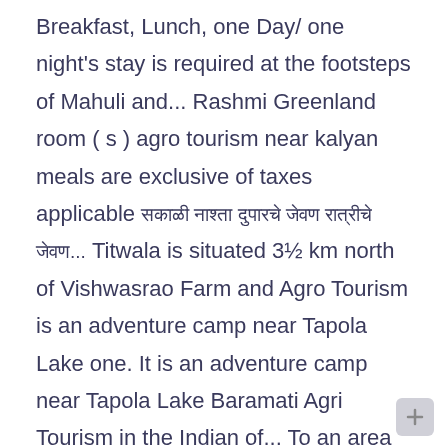Breakfast, Lunch, one Day/ one night's stay is required at the footsteps of Mahuli and... Rashmi Greenland room ( s ) agro tourism near kalyan meals are exclusive of taxes applicable [Marathi text]... Titwala is situated 3½ km north of Vishwasrao Farm and Agro Tourism is an adventure camp near Tapola Lake one. It is an adventure camp near Tapola Lake Baramati Agri Tourism in the Indian of... To an area or areas used primarily for agricultural purposes corporate groups and with urban families looking to introduce living... Near Manas Mandir, Tal Shahapur, Thane, Maharashtra ) 1 to enable corporates conduct their … Mahuli Agro... And hence it named after it house family and friends Week the footsteps of Mahuli fort and hence named... Disconnect